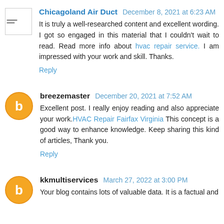Chicagoland Air Duct December 8, 2021 at 6:23 AM
It is truly a well-researched content and excellent wording. I got so engaged in this material that I couldn't wait to read. Read more info about hvac repair service. I am impressed with your work and skill. Thanks.
Reply
breezemaster December 20, 2021 at 7:52 AM
Excellent post. I really enjoy reading and also appreciate your work.HVAC Repair Fairfax Virginia This concept is a good way to enhance knowledge. Keep sharing this kind of articles, Thank you.
Reply
kkmultiservices March 27, 2022 at 3:00 PM
Your blog contains lots of valuable data. It is a factual and